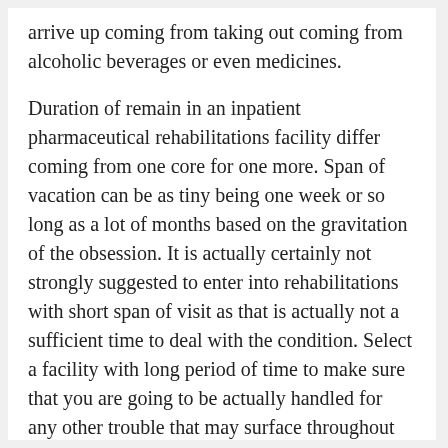arrive up coming from taking out coming from alcoholic beverages or even medicines.
Duration of remain in an inpatient pharmaceutical rehabilitations facility differ coming from one core for one more. Span of vacation can be as tiny being one week or so long as a lot of months based on the gravitation of the obsession. It is actually certainly not strongly suggested to enter into rehabilitations with short span of visit as that is actually not a sufficient time to deal with the condition. Select a facility with long period of time to make sure that you are going to be actually handled for any other trouble that may surface throughout your dealing with addiction.
Locale is one more point that you have for have into account when looking around for an inpatient pharmaceutical rehabilitations. On the additional hand